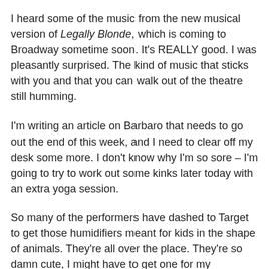I heard some of the music from the new musical version of Legally Blonde, which is coming to Broadway sometime soon. It's REALLY good. I was pleasantly surprised. The kind of music that sticks with you and that you can walk out of the theatre still humming.
I'm writing an article on Barbaro that needs to go out the end of this week, and I need to clear off my desk some more. I don't know why I'm so sore – I'm going to try to work out some kinks later today with an extra yoga session.
So many of the performers have dashed to Target to get those humidifiers meant for kids in the shape of animals. They're all over the place. They're so damn cute, I might have to get one for my apartment.